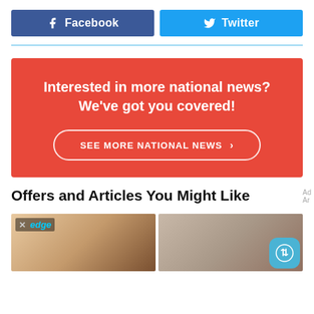[Figure (other): Facebook share button (blue) and Twitter share button (light blue) side by side]
[Figure (infographic): Red promotional box: 'Interested in more national news? We've got you covered!' with a 'SEE MORE NATIONAL NEWS >' button]
Offers and Articles You Might Like
[Figure (illustration): Illustration thumbnail with 'edge' badge overlay]
[Figure (photo): Photo thumbnail of a person, with scroll button overlay]